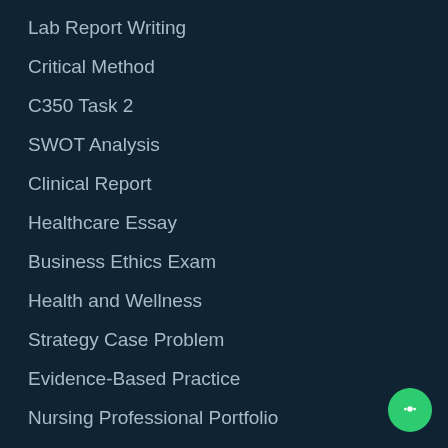Lab Report Writing
Critical Method
C350 Task 2
SWOT Analysis
Clinical Report
Healthcare Essay
Business Ethics Exam
Health and Wellness
Strategy Case Problem
Evidence-Based Practice
Nursing Professional Portfolio
PESTEL and Five Forces Analysis
History Research Paper